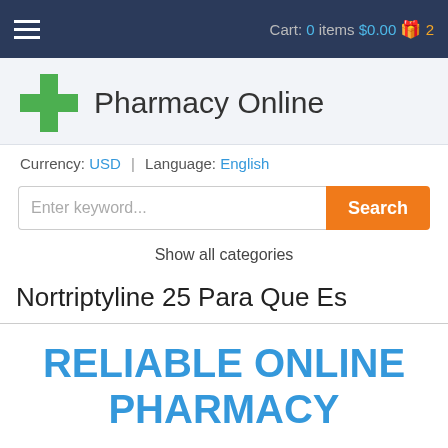Cart: 0 items $0.00 2
Pharmacy Online
Currency: USD | Language: English
Enter keyword...
Show all categories
Nortriptyline 25 Para Que Es
RELIABLE ONLINE PHARMACY
> Click here to order now